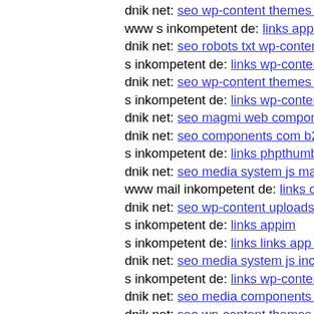dnik net: seo wp-content themes agency
www s inkompetent de: links app etc skin jwallpapers files
dnik net: seo robots txt wp-content themes bazar theme ter
s inkompetent de: links wp-content
dnik net: seo wp-content themes responz git head
s inkompetent de: links wp-content themes coffeebreak scr
dnik net: seo magmi web components com b2jcontact mail
dnik net: seo components com b2jcontact helpers
s inkompetent de: links phpthumb components com b2jco
dnik net: seo media system js magmi web skin media syste
www mail inkompetent de: links components com civicrm
dnik net: seo wp-content uploads assignments raiz0 15911
s inkompetent de: links appim
s inkompetent de: links links app etc skin git head
dnik net: seo media system js includes wp-includes seo me
s inkompetent de: links wp-content themes sketch links ph
dnik net: seo media components com b2jcontact wp-conter
dnik net: seo wp-content themes twentyfourteen core comp
dnik net: seo media system js wp-admin includes plugins c
dnik net: seo wp-content plugins twentyfourteen wp-conte